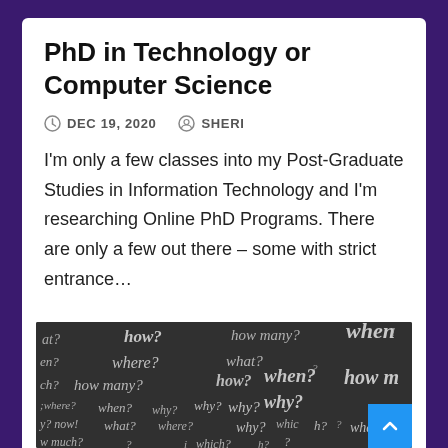PhD in Technology or Computer Science
DEC 19, 2020   SHERI
I'm only a few classes into my Post-Graduate Studies in Information Technology and I'm researching Online PhD Programs. There are only a few out there – some with strict entrance…
[Figure (photo): Chalkboard covered with handwritten question words: how? where? what? when? why? how many? how much? which? who? etc. in white chalk on dark background.]